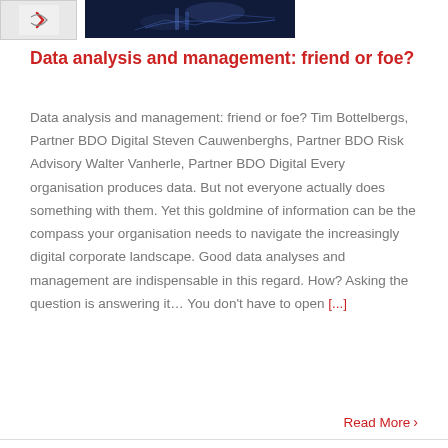[Figure (photo): Two images side by side at the top: a small light-colored image with a logo/icon on the left, and a dark image showing hands/person on the right]
Data analysis and management: friend or foe?
Data analysis and management: friend or foe? Tim Bottelbergs, Partner BDO Digital Steven Cauwenberghs, Partner BDO Risk Advisory Walter Vanherle, Partner BDO Digital Every organisation produces data. But not everyone actually does something with them. Yet this goldmine of information can be the compass your organisation needs to navigate the increasingly digital corporate landscape. Good data analyses and management are indispensable in this regard. How? Asking the question is answering it… You don't have to open [...]
Read More >